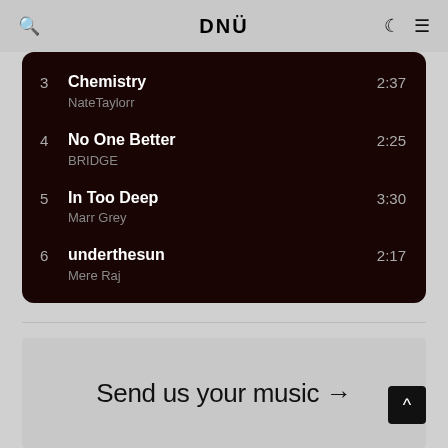DNÜ
3  Chemistry  NateTaylorr  2:37
4  No One Better  BRIDGE  2:25
5  In Too Deep  Marr Grey  3:30
6  underthesun  Mere Raj  2:17
Send us your music →